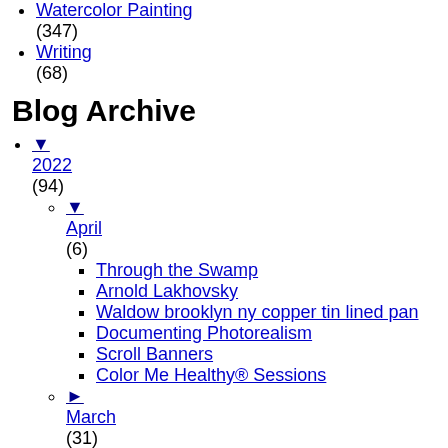Watercolor Painting (347)
Writing (68)
Blog Archive
▼ 2022 (94)
▼ April (6)
Through the Swamp
Arnold Lakhovsky
Waldow brooklyn ny copper tin lined pan
Documenting Photorealism
Scroll Banners
Color Me Healthy® Sessions
► March (31)
► February (27)